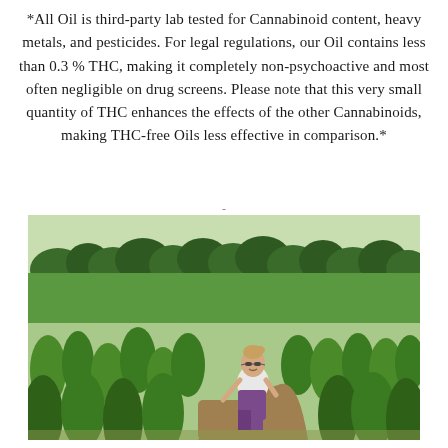*All Oil is third-party lab tested for Cannabinoid content, heavy metals, and pesticides. For legal regulations, our Oil contains less than 0.3 % THC, making it completely non-psychoactive and most often negligible on drug screens. Please note that this very small quantity of THC enhances the effects of the other Cannabinoids, making THC-free Oils less effective in comparison.*
[Figure (photo): A woman with sunglasses crouching among tall hemp/cannabis plants in a farm field, with trees visible in the background. Outdoor daytime setting.]